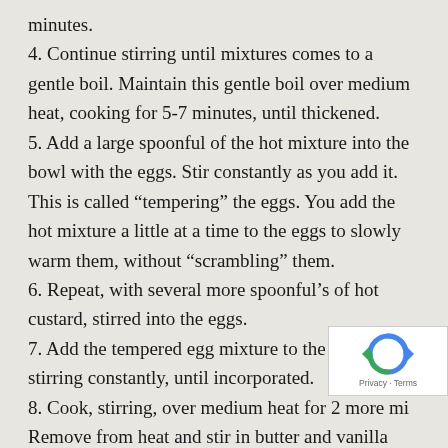minutes.
4. Continue stirring until mixtures comes to a gentle boil. Maintain this gentle boil over medium heat, cooking for 5-7 minutes, until thickened.
5. Add a large spoonful of the hot mixture into the bowl with the eggs. Stir constantly as you add it. This is called “tempering” the eggs. You add the hot mixture a little at a time to the eggs to slowly warm them, without “scrambling” them.
6. Repeat, with several more spoonful’s of hot custard, stirred into the eggs.
7. Add the tempered egg mixture to the saucepan, stirring constantly, until incorporated.
8. Cook, stirring, over medium heat for 2 more mi… Remove from heat and stir in butter and vanilla extract.